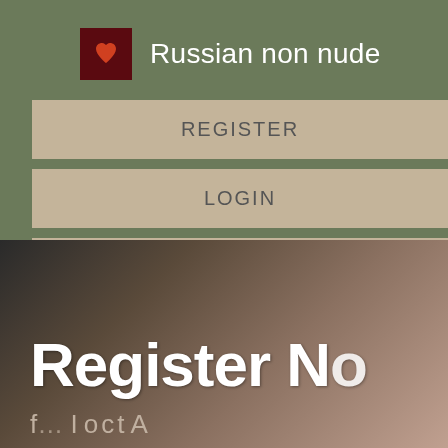Russian non nude
REGISTER
LOGIN
CONTACT US
[Figure (photo): Background photo with overlaid text reading 'Register No' and partial second line, dark toned image]